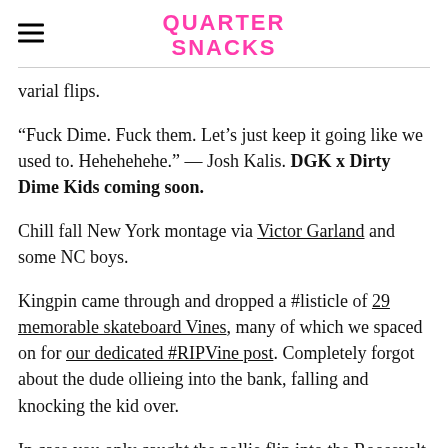QUARTER SNACKS
varial flips.
“Fuck Dime. Fuck them. Let’s just keep it going like we used to. Hehehehehe.” — Josh Kalis. DGK x Dirty Dime Kids coming soon.
Chill fall New York montage via Victor Garland and some NC boys.
Kingpin came through and dropped a #listicle of 29 memorable skateboard Vines, many of which we spaced on for our dedicated #RIPVine post. Completely forgot about the dude ollieing into the bank, falling and knocking the kid over.
In case you only caught the nollie flip into the Roosevelt